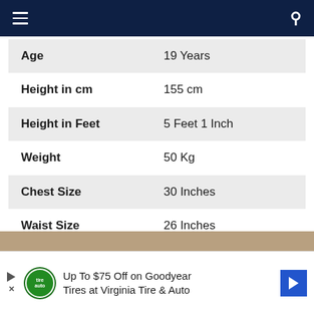Navigation bar with menu and search icons
| Age | 19 Years |
| Height in cm | 155 cm |
| Height in Feet | 5 Feet 1 Inch |
| Weight | 50 Kg |
| Chest Size | 30 Inches |
| Waist Size | 26 Inches |
| Biceps Size | 20 Inches |
[Figure (photo): Partial photo visible at bottom of page]
Up To $75 Off on Goodyear Tires at Virginia Tire & Auto